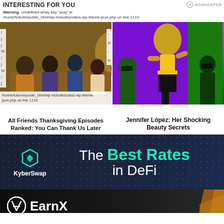INTERESTING FOR YOU
Warning: Undefined array key "slug" in /home/tuiiorbi/public_html/wp-includes/class-wp-theme-json.php on line 1110
[Figure (photo): Friends TV show cast sitting in living room scene - Thanksgiving episode]
All Friends Thanksgiving Episodes Ranked: You Can Thank Us Later
[Figure (photo): Jennifer Lopez performing on stage in colorful outfit]
Jennifer López: Her Shocking Beauty Secrets
[Figure (infographic): KyberSwap advertisement banner - The Best Rates in DeFi]
[Figure (infographic): EarnX advertisement banner with JOIN WITH US button]